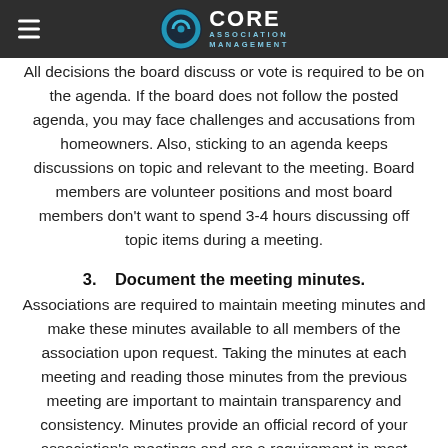CORE ASSOCIATION MANAGEMENT
All decisions the board discuss or vote is required to be on the agenda. If the board does not follow the posted agenda, you may face challenges and accusations from homeowners. Also, sticking to an agenda keeps discussions on topic and relevant to the meeting. Board members are volunteer positions and most board members don't want to spend 3-4 hours discussing off topic items during a meeting.
3.    Document the meeting minutes.
Associations are required to maintain meeting minutes and make these minutes available to all members of the association upon request. Taking the minutes at each meeting and reading those minutes from the previous meeting are important to maintain transparency and consistency. Minutes provide an official record of your association's meetings and are a requirement in most bylaws.
Minutes are not a transcript of the meeting. They